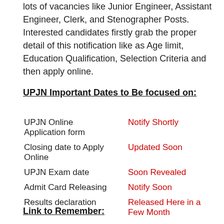lots of vacancies like Junior Engineer, Assistant Engineer, Clerk, and Stenographer Posts. Interested candidates firstly grab the proper detail of this notification like as Age limit, Education Qualification, Selection Criteria and then apply online.
UPJN Important Dates to Be focused on:
|  |  |
| --- | --- |
| UPJN Online Application form | Notify Shortly |
| Closing date to Apply Online | Updated Soon |
| UPJN Exam date | Soon Revealed |
| Admit Card Releasing | Notify Soon |
| Results declaration | Released Here in a Few Month |
Link to Remember: